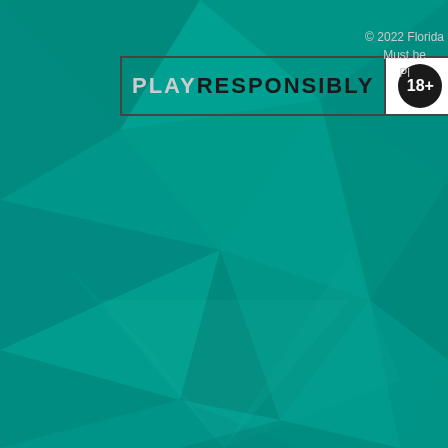[Figure (illustration): Teal/green geometric low-poly polygon background pattern filling the entire page]
[Figure (logo): PLAY RESPONSIBLY 18+ logo — bordered rectangle with 'PLAY' in gray, 'RESPONSIBLY' in dark, and a dark circle badge with '18+' in white]
© 2022 Florida
Must be
Pl